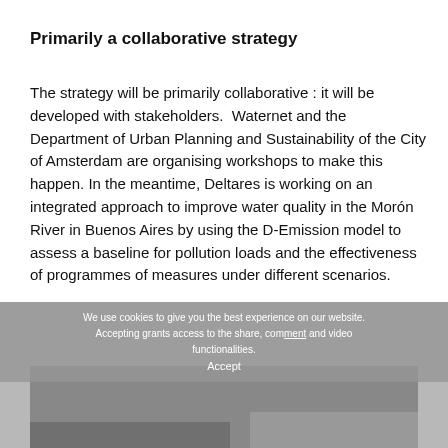Primarily a collaborative strategy
The strategy will be primarily collaborative : it will be developed with stakeholders.  Waternet and the Department of Urban Planning and Sustainability of the City of Amsterdam are organising workshops to make this happen. In the meantime, Deltares is working on an integrated approach to improve water quality in the Morón River in Buenos Aires by using the D-Emission model to assess a baseline for pollution loads and the effectiveness of programmes of measures under different scenarios.
We use cookies to give you the best experience on our website. Accepting grants access to the share, comment and video functionalities.
Accept
[Figure (photo): Photo of people in a workshop or meeting room setting, partially visible at the bottom of the page with a cookie consent overlay on top.]